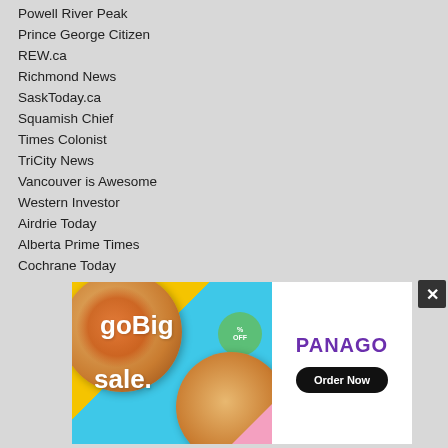Powell River Peak
Prince George Citizen
REW.ca
Richmond News
SaskToday.ca
Squamish Chief
Times Colonist
TriCity News
Vancouver is Awesome
Western Investor
Airdrie Today
Alberta Prime Times
Cochrane Today
Lakeland Today
Mountain View Today
Okotoks Today
RMO Today
St. Albert Today
Town and Country Today
[Figure (screenshot): Panago Pizza advertisement with 'go Big sale.' text on a cyan/yellow background with pizzas, and Panago logo with 'Order Now' button on white background. A close (X) button is in the top right corner.]